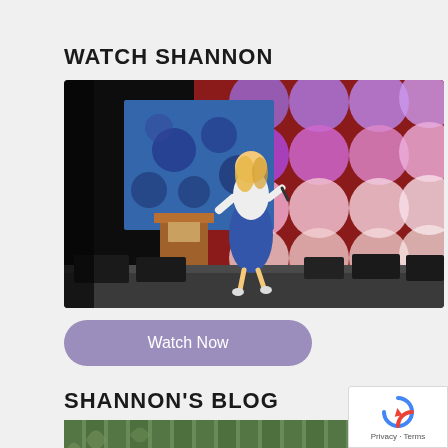WATCH SHANNON
[Figure (photo): A blonde woman in a blue and white dress speaking on stage with a microphone, in front of a backdrop of large purple and pink illuminated circles. A wooden podium is visible on the left side of the stage with stage lighting equipment on the floor.]
Watch Now
SHANNON'S BLOG
[Figure (photo): Partial view of a blog section showing a green leafy/architectural background image]